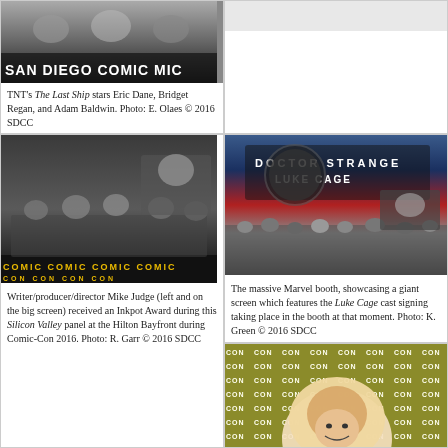[Figure (photo): TNT's The Last Ship panel with stars Eric Dane, Bridget Regan, and Adam Baldwin at San Diego Comic-Con, with SDCC banner visible]
TNT's The Last Ship stars Eric Dane, Bridget Regan, and Adam Baldwin. Photo: E. Olaes © 2016 SDCC
[Figure (photo): Empty or partial image area at top right]
[Figure (photo): The massive Marvel booth at SDCC showcasing Doctor Strange, Luke Cage displays and a giant screen with the Luke Cage cast signing]
The massive Marvel booth, showcasing a giant screen which features the Luke Cage cast signing taking place in the booth at that moment. Photo: K. Green © 2016 SDCC
[Figure (photo): Writer/producer/director Mike Judge at the Silicon Valley panel at Hilton Bayfront during Comic-Con 2016, shown left and on big screen]
Writer/producer/director Mike Judge (left and on the big screen) received an Inkpot Award during this Silicon Valley panel at the Hilton Bayfront during Comic-Con 2016. Photo: R. Garr © 2016 SDCC
[Figure (photo): A woman wearing a hijab at a Comic-Con panel, with CON logo backdrop behind her]